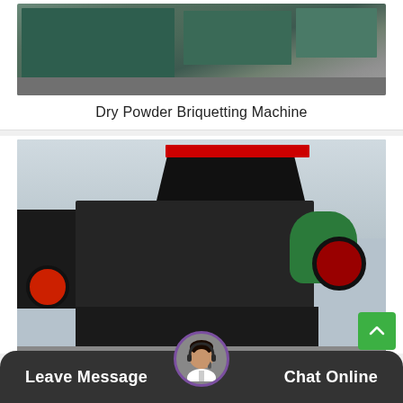[Figure (photo): Top portion of a green industrial dry powder briquetting machine in a factory setting]
Dry Powder Briquetting Machine
[Figure (photo): Large black industrial briquetting press machine with red-topped hopper, green motor/flywheel on the right, red wheels, and black legs, photographed in an industrial warehouse with other similar machines in background]
Leave Message
Chat Online